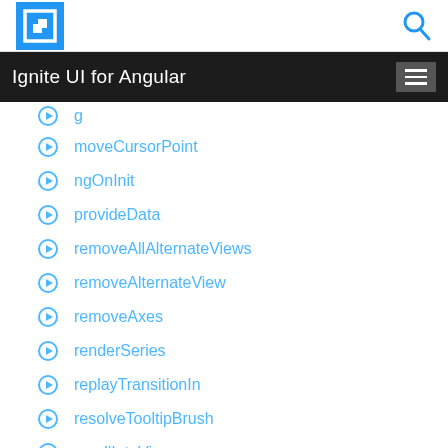[Figure (logo): Ignite UI logo - white bracket icon on blue square background]
Ignite UI for Angular
moveCursorPoint
ngOnInit
provideData
removeAllAlternateViews
removeAlternateView
removeAxes
renderSeries
replayTransitionIn
resolveTooltipBrush
scrollIntoView